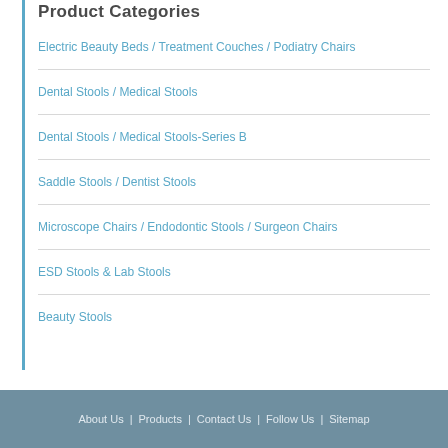Product Categories
Electric Beauty Beds / Treatment Couches / Podiatry Chairs
Dental Stools / Medical Stools
Dental Stools / Medical Stools-Series B
Saddle Stools / Dentist Stools
Microscope Chairs / Endodontic Stools / Surgeon Chairs
ESD Stools & Lab Stools
Beauty Stools
About Us | Products | Contact Us | Follow Us | Sitemap